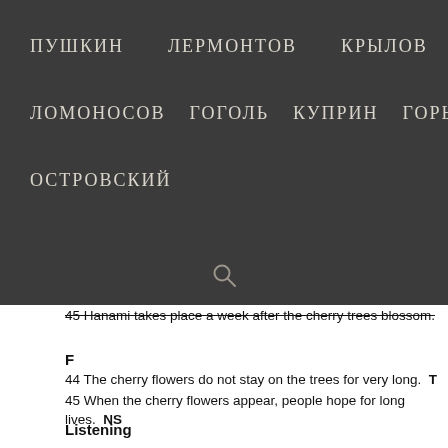ПУШКИН   ЛЕРМОНТОВ   КРЫЛОВ
ЛОМОНОСОВ   ГОГОЛЬ   КУПРИН   ГОРЬКИЙ
ОСТРОВСКИЙ
45 Hanami takes place a week after the cherry trees blossom.
F
44 The cherry flowers do not stay on the trees for very long.  T
45 When the cherry flowers appear, people hope for long lives.  NS
Listening